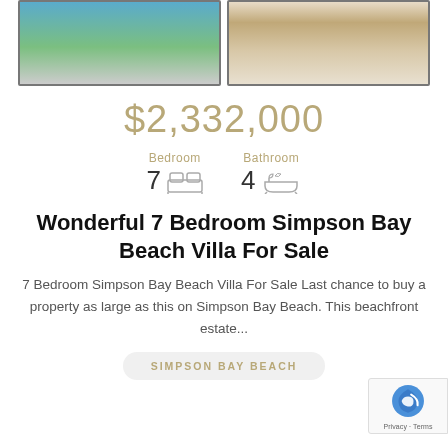[Figure (photo): Two property photos side by side: left shows a balcony/terrace with ocean view and palm trees, right shows an interior dining and living area with wooden furniture]
$2,332,000
Bedroom 7  Bathroom 4
Wonderful 7 Bedroom Simpson Bay Beach Villa For Sale
7 Bedroom Simpson Bay Beach Villa For Sale Last chance to buy a property as large as this on Simpson Bay Beach. This beachfront estate...
SIMPSON BAY BEACH